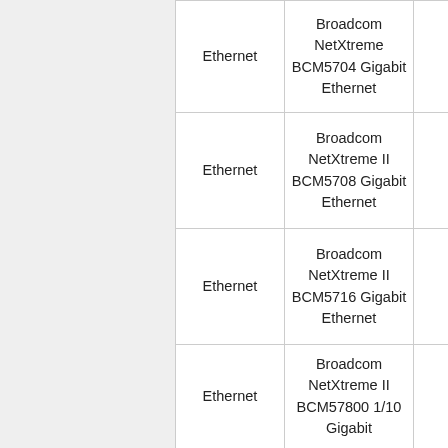| Ethernet | Broadcom NetXtreme BCM5704 Gigabit Ethernet |  |
| Ethernet | Broadcom NetXtreme II BCM5708 Gigabit Ethernet |  |
| Ethernet | Broadcom NetXtreme II BCM5716 Gigabit Ethernet |  |
| Ethernet | Broadcom NetXtreme II BCM57800 1/10 Gigabit |  |